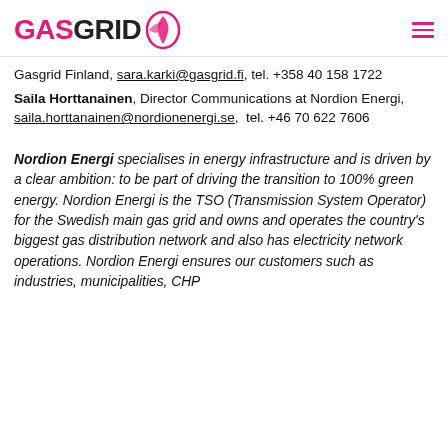[Figure (logo): Gasgrid Finland logo with pink GASGRID text and flame/leaf icon, hamburger menu icon on the right]
Gasgrid Finland, sara.karki@gasgrid.fi, tel. +358 40 158 1722
Saila Horttanainen, Director Communications at Nordion Energi, saila.horttanainen@nordionenergi.se, tel. +46 70 622 7606
Nordion Energi specialises in energy infrastructure and is driven by a clear ambition: to be part of driving the transition to 100% green energy. Nordion Energi is the TSO (Transmission System Operator) for the Swedish main gas grid and owns and operates the country's biggest gas distribution network and also has electricity network operations. Nordion Energi ensures our customers such as industries, municipalities, CHP